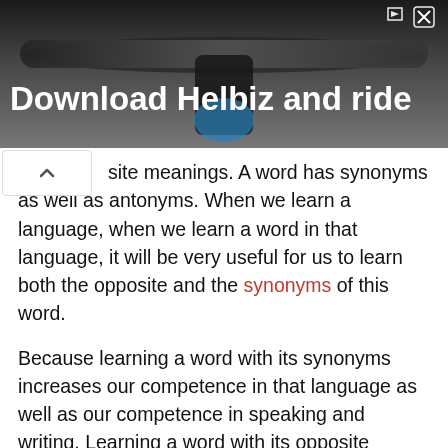[Figure (photo): Advertisement banner for 'Download Helbiz and ride' showing bicycle handlebars in the background with white bold text. Close/collapse icons visible in top right.]
site meanings. A word has synonyms as well as antonyms. When we learn a language, when we learn a word in that language, it will be very useful for us to learn both the opposite and the synonyms of this word.
Because learning a word with its synonyms increases our competence in that language as well as our competence in speaking and writing. Learning a word with its opposite meanings both broadens our vocabulary and helps our activity on language. There are some things we need to know about opposite words.
First, the negative of a word cannot be the opposite of that word. Negative words indicate whether an action should be taken to us, that is, not the opposite meaning of a word